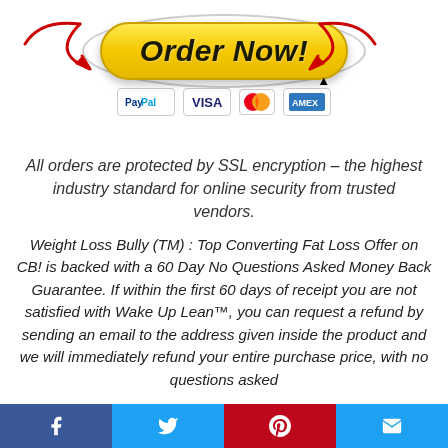[Figure (infographic): Yellow 'Order Now!' button with red arrows pointing at it from both sides, oval halo behind button, and payment icons (PayPal, VISA, Mastercard, Amex) below]
All orders are protected by SSL encryption – the highest industry standard for online security from trusted vendors.
Weight Loss Bully (TM) : Top Converting Fat Loss Offer on CB! is backed with a 60 Day No Questions Asked Money Back Guarantee. If within the first 60 days of receipt you are not satisfied with Wake Up Lean™, you can request a refund by sending an email to the address given inside the product and we will immediately refund your entire purchase price, with no questions asked
[Figure (infographic): Social media share bar with Facebook (blue), Twitter (light blue), Pinterest (red), and email (light blue) buttons]